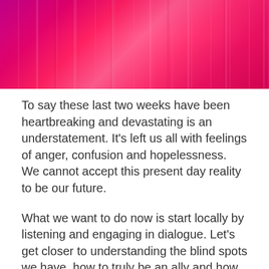[Figure (photo): Abstract colorful banner image with pink, magenta, and red vertical streaks and gradients]
To say these last two weeks have been heartbreaking and devastating is an understatement. It's left us all with feelings of anger, confusion and hopelessness. We cannot accept this present day reality to be our future.
What we want to do now is start locally by listening and engaging in dialogue. Let's get closer to understanding the blind spots we have, how to truly be an ally and how we can come together locally to help support our Black community.
Join us on Thursday at 4 pm PT on Facebook Live for an important conversation on racism, activism and being an ally in Central Oregon. Hear from two Bend-based, empowering women who are working for equality in their